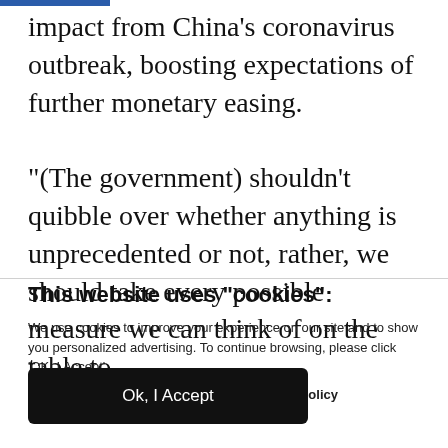impact from China's coronavirus outbreak, boosting expectations of further monetary easing.
“(The government) shouldn’t quibble over whether anything is unprecedented or not, rather, we should take every possible measure we can think of on the table to
This website uses "cookies":
We use cookies to improve your experience on our site and to show you personalized advertising. To continue browsing, please click ‘OK, I Accept’.
For more information, please read our Privacy Policy
Ok, I Accept